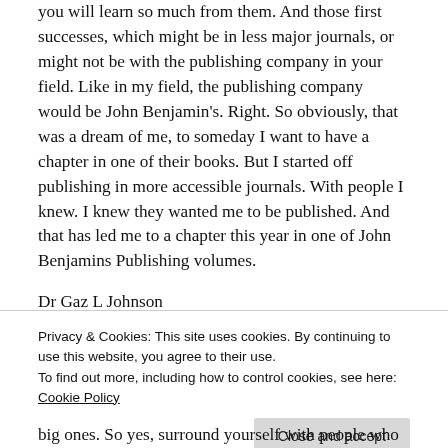you will learn so much from them. And those first successes, which might be in less major journals, or might not be with the publishing company in your field. Like in my field, the publishing company would be John Benjamin's. Right. So obviously, that was a dream of me, to someday I want to have a chapter in one of their books. But I started off publishing in more accessible journals. With people I knew. I knew they wanted me to be published. And that has led me to a chapter this year in one of John Benjamins Publishing volumes.
Dr Gaz L Johnson
Privacy & Cookies: This site uses cookies. By continuing to use this website, you agree to their use.
To find out more, including how to control cookies, see here: Cookie Policy
big ones. So yes, surround yourself with people who